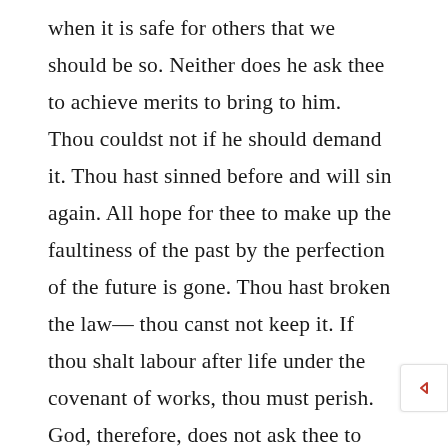when it is safe for others that we should be so. Neither does he ask thee to achieve merits to bring to him. Thou couldst not if he should demand it. Thou hast sinned before and will sin again. All hope for thee to make up the faultiness of the past by the perfection of the future is gone. Thou hast broken the law— thou canst not keep it. If thou shalt labour after life under the covenant of works, thou must perish. God, therefore, does not ask thee to save thyself by thine own works, but he graciously tells thee that he is full of mercy, full of